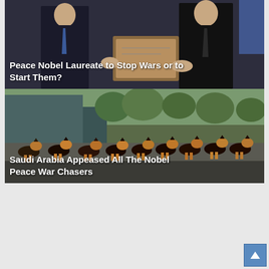[Figure (photo): Two men in suits, one holding a certificate or plaque, likely a Nobel Prize ceremony. Dark formal attire, indoor setting.]
Peace Nobel Laureate to Stop Wars or to Start Them?
[Figure (photo): A row of German Shepherd dogs lined up outdoors in a parking lot or courtyard, with trees and a building in the background.]
Saudi Arabia Appeased All The Nobel Peace War Chasers
Newer Post
Who Made Donald Trump But Barack Hussein Obama?
Older Post
The McCain-Carter Exchange that Stripped Obama of His Cloth